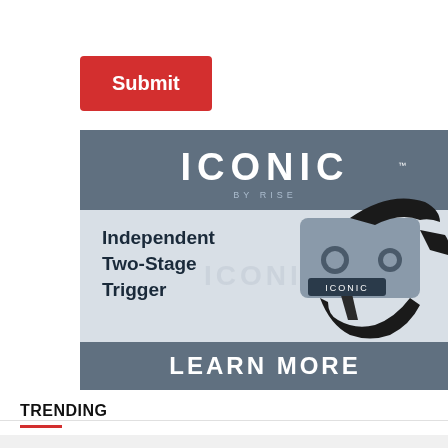[Figure (screenshot): Red Submit button on white background]
[Figure (infographic): ICONIC BY RISE advertisement for Independent Two-Stage Trigger with LEARN MORE call to action. Shows the trigger product photo on the right side.]
TRENDING